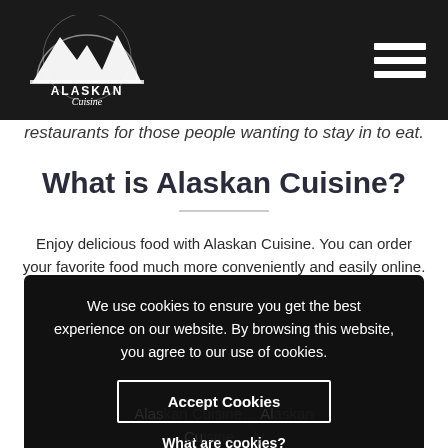Alaskan Cuisine — navigation header with logo and hamburger menu
restaurants for those people wanting to stay in to eat.
What is Alaskan Cuisine?
Enjoy delicious food with Alaskan Cuisine. You can order your favorite food much more conveniently and easily online. No matter if Pizza, Burger, Seafood or Thai, on Alaskan Cuisine you can find it all. We simply enter … one or
We use cookies to ensure you get the best experience on our website. By browsing this website, you agree to our use of cookies.
Accept Cookies
What are cookies?
Alaskan Cuisine … Alaskan Cuisine … only order food online from … Alaskan Cuisine app, you can save your favorite delivery service as